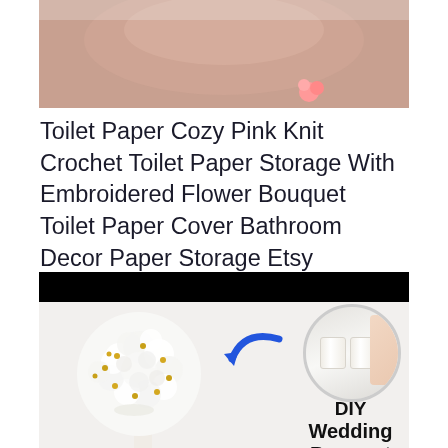[Figure (photo): Top portion of a pink knit crochet toilet paper cover with embroidered flower, shown hanging, cropped at top]
Toilet Paper Cozy Pink Knit Crochet Toilet Paper Storage With Embroidered Flower Bouquet Toilet Paper Cover Bathroom Decor Paper Storage Etsy Handmade Etsy
[Figure (photo): DIY Wedding Bouquet image showing a white fluffy tissue paper ball bouquet with gold bead pins and white satin ribbon handle with black bow, with a circular inset showing toilet paper rolls and a blue arrow pointing from rolls to bouquet, with black header bar and text 'DIY Wedding Bouquet']